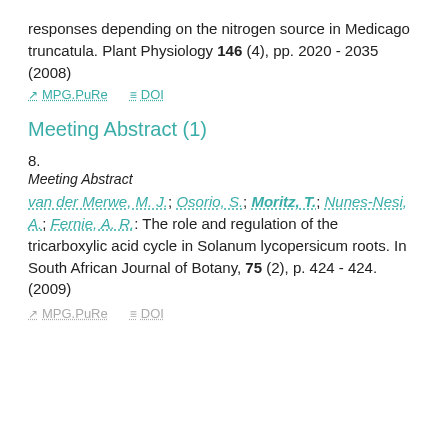responses depending on the nitrogen source in Medicago truncatula. Plant Physiology 146 (4), pp. 2020 - 2035 (2008)
MPG.PuRe   DOI
Meeting Abstract (1)
8.
Meeting Abstract
van der Merwe, M. J.; Osorio, S.; Moritz, T.; Nunes-Nesi, A.; Fernie, A. R.: The role and regulation of the tricarboxylic acid cycle in Solanum lycopersicum roots. In South African Journal of Botany, 75 (2), p. 424 - 424. (2009)
MPG.PuRe   DOI